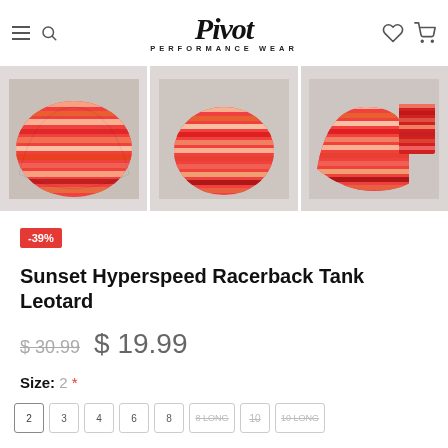Pivot Performance Wear — navigation header
[Figure (photo): Three product images of a red/orange striped swimwear bottom (leotard) shown from different angles on a light grey background.]
-39%
Sunset Hyperspeed Racerback Tank Leotard
$ 30.99   $ 19.99
Size: 2 *
2
3
4
6
8
8 LONG
10
10 LONG